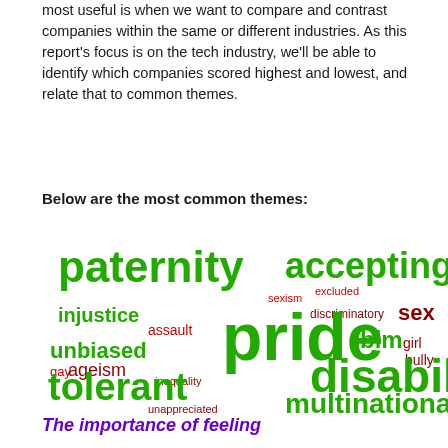most useful is when we want to compare and contrast companies within the same or different industries. As this report's focus is on the tech industry, we'll be able to identify which companies scored highest and lowest, and relate that to common themes.
Below are the most common themes:
[Figure (infographic): Word cloud showing common themes related to diversity and inclusion. Large green words: paternity, pride, disability, tolerant, accepting, unbiased, multinational. Medium green: injustice, blm. Small dark red/maroon words: sexism, excluded, assault, gay, ageism, inequality, unappreciated, discriminatory, sex, girl, bully.]
The importance of feeling